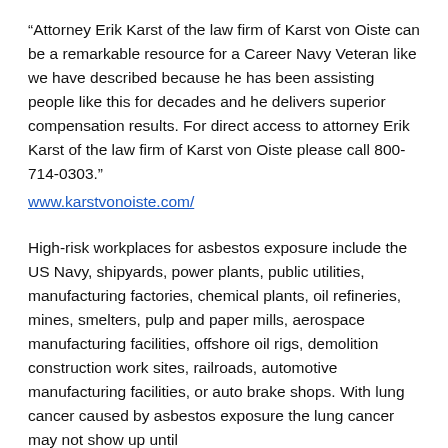“Attorney Erik Karst of the law firm of Karst von Oiste can be a remarkable resource for a Career Navy Veteran like we have described because he has been assisting people like this for decades and he delivers superior compensation results. For direct access to attorney Erik Karst of the law firm of Karst von Oiste please call 800-714-0303.”
www.karstvonoiste.com/
High-risk workplaces for asbestos exposure include the US Navy, shipyards, power plants, public utilities, manufacturing factories, chemical plants, oil refineries, mines, smelters, pulp and paper mills, aerospace manufacturing facilities, offshore oil rigs, demolition construction work sites, railroads, automotive manufacturing facilities, or auto brake shops. With lung cancer caused by asbestos exposure the lung cancer may not show up until